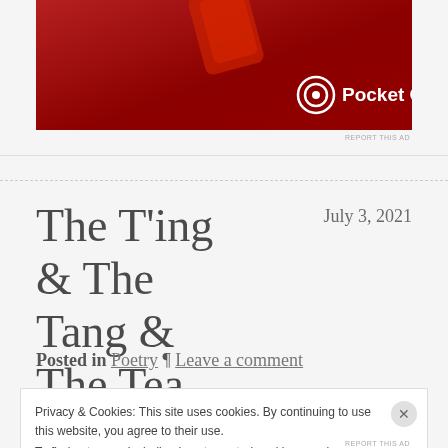[Figure (photo): Advertisement banner for Pocket Casts app on red background with app icon (phone/device) and Pocket Casts logo in white]
The T'ing & The Tang & The Tea.
July 3, 2021
Posted in Poetry ¶ Leave a comment
Privacy & Cookies: This site uses cookies. By continuing to use this website, you agree to their use.
To find out more, including how to control cookies, see here: Cookie Policy
Close and accept